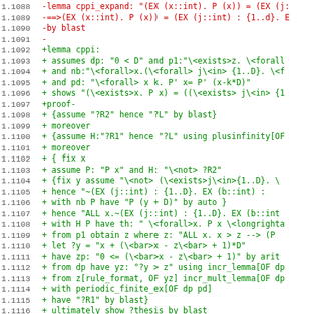Code diff showing Isabelle/HOL proof lines 1.1088–1.1119
1.1088  -lemma cppi_expand: "(EX (x::int). P (x)) = (EX (j:...
1.1089  -==>(EX (x::int). P (x)) = (EX (j::int) : {1..d}. E...
1.1090  -by blast
1.1091  -
1.1092  +lemma cppi:
1.1093  +  assumes dp: "0 < D" and p1:"\<exists>z. \<forall...
1.1094  +  and nb:"\<forall>x.(\<forall> j\<in> {1..D}. \<f...
1.1095  +  and pd: "\<forall> x k. P' x= P' (x-k*D)"
1.1096  +  shows "(\<exists>x. P x) = ((\<exists> j\<in> {1...
1.1097  +proof-
1.1098  + {assume "?R2" hence "?L"  by blast}
1.1099  + moreover
1.1100  + {assume H:"?R1" hence "?L" using plusinfinity[OF ...
1.1101  + moreover
1.1102  + { fix x
1.1103  +   assume P: "P x" and H: "\<not> ?R2"
1.1104  +   {fix y assume "\<not> (\<exists>j\<in>{1..D}. \...
1.1105  +      hence "~(EX (j::int) : {1..D}. EX (b::int) : ...
1.1106  +      with nb P  have "P (y + D)" by auto }
1.1107  +   hence "ALL x.~(EX (j::int) : {1..D}. EX (b::int...
1.1108  +   with H P have th: " \<forall>x. P x \<longrighta...
1.1109  +   from p1 obtain z where z: "ALL x. x > z --> (P ...
1.1110  +   let ?y = "x + (\<bar>x - z\<bar> + 1)*D"
1.1111  +   have zp: "0 <= (\<bar>x - z\<bar> + 1)" by arith
1.1112  +   from dp have yz: "?y > z" using incr_lemma[OF dp...
1.1113  +   from z[rule_format, OF yz] incr_mult_lemma[OF dp...
1.1114  +   with periodic_finite_ex[OF dp pd]
1.1115  +   have "?R1" by blast}
1.1116  + ultimately show ?thesis by blast
1.1117  +qed
1.1118  (empty)
1.1119     lemma simp_from_to: "{i..j::int} = (if j < i then...